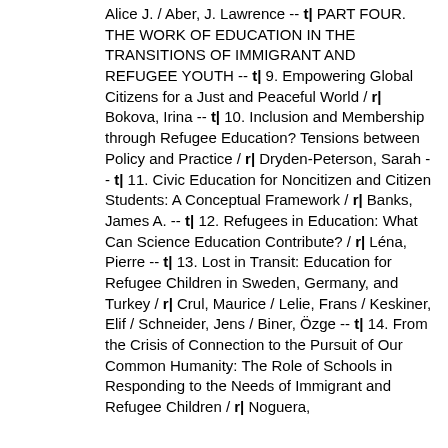Alice J. / Aber, J. Lawrence -- t| PART FOUR. THE WORK OF EDUCATION IN THE TRANSITIONS OF IMMIGRANT AND REFUGEE YOUTH -- t| 9. Empowering Global Citizens for a Just and Peaceful World / r| Bokova, Irina -- t| 10. Inclusion and Membership through Refugee Education? Tensions between Policy and Practice / r| Dryden-Peterson, Sarah -- t| 11. Civic Education for Noncitizen and Citizen Students: A Conceptual Framework / r| Banks, James A. -- t| 12. Refugees in Education: What Can Science Education Contribute? / r| Léna, Pierre -- t| 13. Lost in Transit: Education for Refugee Children in Sweden, Germany, and Turkey / r| Crul, Maurice / Lelie, Frans / Keskiner, Elif / Schneider, Jens / Biner, Özge -- t| 14. From the Crisis of Connection to the Pursuit of Our Common Humanity: The Role of Schools in Responding to the Needs of Immigrant and Refugee Children / r| Noguera,